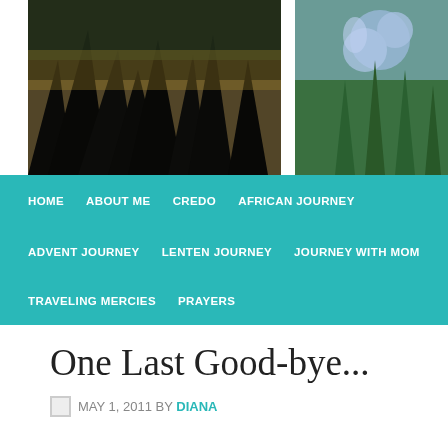[Figure (photo): Two photos side by side: left shows dark silhouette of tropical plants against water/sunset, right shows close-up of blue/purple agapanthus flowers with green stems]
a p
[Figure (other): Navigation bar with teal/turquoise background containing menu items: HOME, ABOUT ME, CREDO, AFRICAN JOURNEY, ADVENT JOURNEY, LENTEN JOURNEY, JOURNEY WITH MOM, TRAVELING MERCIES, PRAYERS]
One Last Good-bye...
MAY 1, 2011 BY DIANA